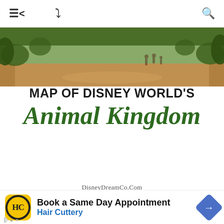navigation bar with menu, share, chevron, and search icons
[Figure (photo): Outdoor path at Disney's Animal Kingdom with greenery and figures walking in background]
MAP OF DISNEY WORLD'S Animal Kingdom
DisneyDreamCo.Com
[Figure (map): Map of Disney World's Animal Kingdom park with legend and Pandora - The World of Avatar section highlighted]
[Figure (infographic): Advertisement: Book a Same Day Appointment - Hair Cuttery, with Hair Cuttery logo and navigation arrow icon]